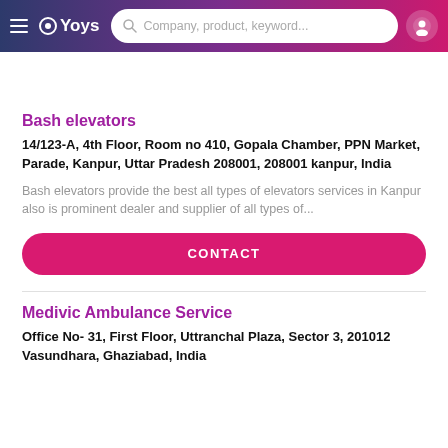OYoys — Company, product, keyword...
Bash elevators
14/123-A, 4th Floor, Room no 410, Gopala Chamber, PPN Market, Parade, Kanpur, Uttar Pradesh 208001, 208001 kanpur, India
Bash elevators provide the best all types of elevators services in Kanpur also is prominent dealer and supplier of all types of...
CONTACT
Medivic Ambulance Service
Office No- 31, First Floor, Uttranchal Plaza, Sector 3, 201012 Vasundhara, Ghaziabad, India